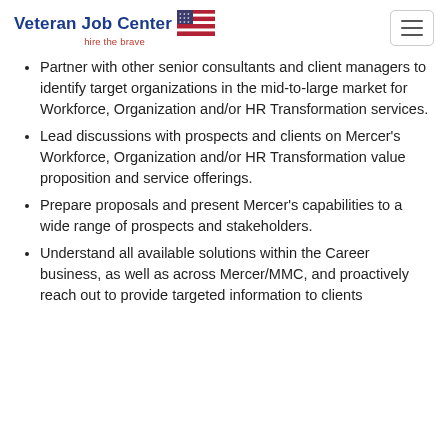Veteran Job Center — hire the brave
Partner with other senior consultants and client managers to identify target organizations in the mid-to-large market for Workforce, Organization and/or HR Transformation services.
Lead discussions with prospects and clients on Mercer's Workforce, Organization and/or HR Transformation value proposition and service offerings.
Prepare proposals and present Mercer's capabilities to a wide range of prospects and stakeholders.
Understand all available solutions within the Career business, as well as across Mercer/MMC, and proactively reach out to provide targeted information to clients